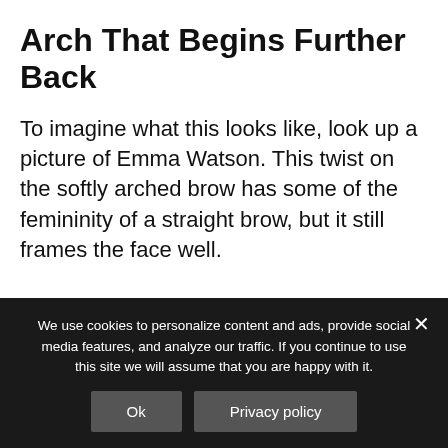Arch That Begins Further Back
To imagine what this looks like, look up a picture of Emma Watson. This twist on the softly arched brow has some of the femininity of a straight brow, but it still frames the face well.
Darker Brows
Filling your eyebrows in with a darker
We use cookies to personalize content and ads, provide social media features, and analyze our traffic. If you continue to use this site we will assume that you are happy with it.